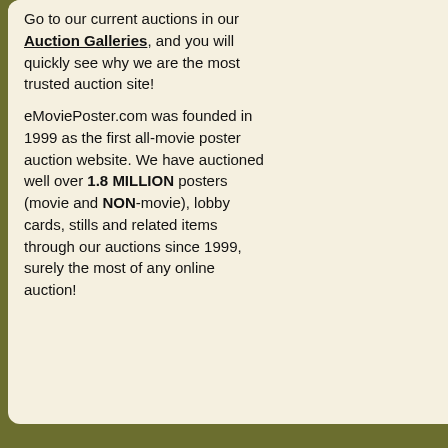Go to our current auctions in our Auction Galleries, and you will quickly see why we are the most trusted auction site!

eMoviePoster.com was founded in 1999 as the first all-movie poster auction website. We have auctioned well over 1.8 MILLION posters (movie and NON-movie), lobby cards, stills and related items through our auctions since 1999, surely the most of any online auction!
1. Check our live au...
2. See if we have th...
Your Name
*Your Username (optional)
*Your username is only needed if your...
Your Email Address
Retype your Email Address
Question or Comment
2j064  ANY WHICH WAY Y
& Clyde by Bob Peak!
Regarding: Questions abou...
[Figure (photo): Small dark thumbnail image at bottom right]